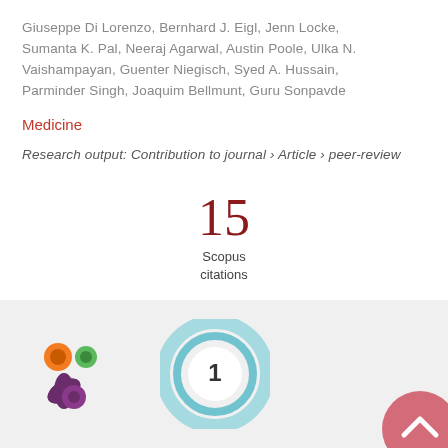Giuseppe Di Lorenzo, Bernhard J. Eigl, Jenn Locke, Sumanta K. Pal, Neeraj Agarwal, Austin Poole, Ulka N. Vaishampayan, Guenter Niegisch, Syed A. Hussain, Parminder Singh, Joaquim Bellmunt, Guru Sonpavde
Medicine
Research output: Contribution to journal › Article › peer-review
15 Scopus citations
[Figure (logo): Altmetric donut-style icon with colorful circles (orange, green, purple) arranged in a splat pattern]
[Figure (infographic): Circular badge with number 1 in center, teal/blue ring around it — citation or attention score badge]
[Figure (other): Pink/rose circular scroll-to-top button with upward chevron arrow]